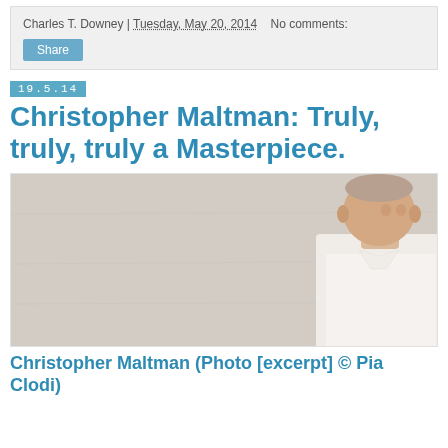Charles T. Downey | Tuesday, May 20, 2014   No comments:
Share
19.5.14
Christopher Maltman: Truly, truly, truly a Masterpiece.
[Figure (photo): Christopher Maltman, a bald man in a white shirt, standing against a concrete wall, looking to his right.]
Christopher Maltman (Photo [excerpt] © Pia Clodi)